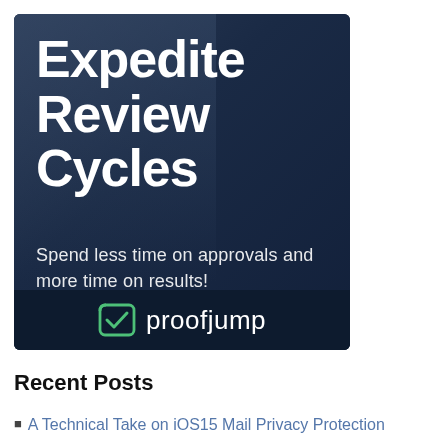[Figure (illustration): Proofjump advertisement banner with dark blue background. Large white bold text reads 'Expedite Review Cycles'. Subtitle text reads 'Spend less time on approvals and more time on results!'. Bottom bar shows Proofjump logo (checkmark icon) and brand name 'proofjump'.]
Recent Posts
A Technical Take on iOS15 Mail Privacy Protection